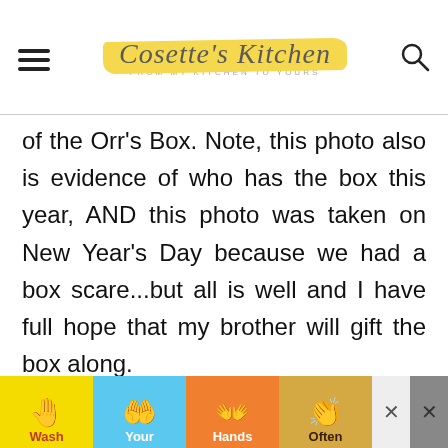Cosette's Kitchen — FROM MY KITCHEN TO YOURS
of the Orr's Box. Note, this photo also is evidence of who has the box this year, AND this photo was taken on New Year's Day because we had a box scare...but all is well and I have full hope that my brother will gift the box along.
[Figure (screenshot): Advertisement banner at bottom showing 'Wash Your Hands Often' with hand-washing emoji icons on colored tiles]